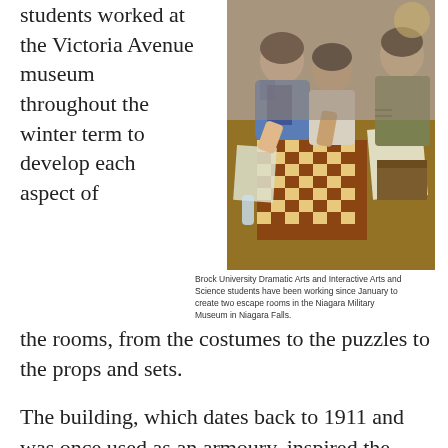students worked at the Victoria Avenue museum throughout the winter term to develop each aspect of the rooms, from the costumes to the puzzles to the props and sets.
[Figure (photo): Students leaning over a table with a checkerboard and documents, one person in a military-style uniform]
Brock University Dramatic Arts and Interactive Arts and Science students have been working since January to create two escape rooms in the Niagara Military Museum in Niagara Falls.
The building, which dates back to 1911 and was once used as an armoury, inspired the historical First World War and Cold War escape room themes.
The rooms are unique in that they include live actors who